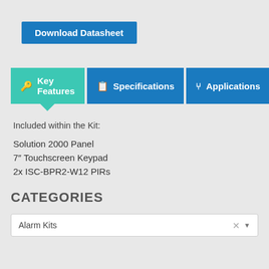[Figure (screenshot): Download Datasheet button in blue]
[Figure (screenshot): Tab navigation with Key Features (teal, active), Specifications, and Applications tabs]
Included within the Kit:
Solution 2000 Panel
7″ Touchscreen Keypad
2x ISC-BPR2-W12 PIRs
CATEGORIES
Alarm Kits